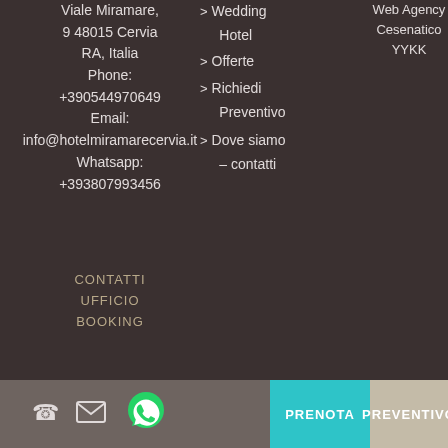Viale Miramare, 9 48015 Cervia RA, Italia
Phone:
+390544970649
Email:
info@hotelmiramarecervia.it
Whatsapp:
+393807993456
> Wedding Hotel
> Offerte
> Richiedi Preventivo
> Dove siamo – contatti
Web Agency Cesenatico YYKK
CONTATTI UFFICIO BOOKING
PRENOTA   PREVENTIVO